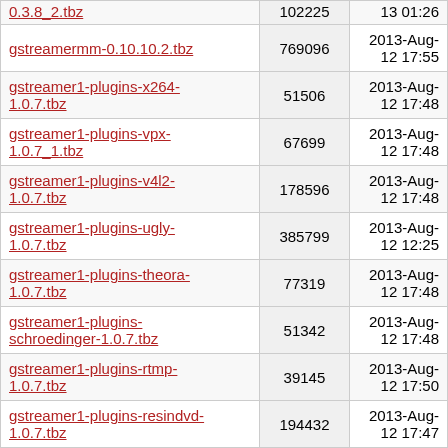| Filename | Size | Date |
| --- | --- | --- |
| 0.3.8_2.tbz | 102225 | 13 01:26 |
| gstreamermm-0.10.10.2.tbz | 769096 | 2013-Aug-12 17:55 |
| gstreamer1-plugins-x264-1.0.7.tbz | 51506 | 2013-Aug-12 17:48 |
| gstreamer1-plugins-vpx-1.0.7_1.tbz | 67699 | 2013-Aug-12 17:48 |
| gstreamer1-plugins-v4l2-1.0.7.tbz | 178596 | 2013-Aug-12 17:48 |
| gstreamer1-plugins-ugly-1.0.7.tbz | 385799 | 2013-Aug-12 12:25 |
| gstreamer1-plugins-theora-1.0.7.tbz | 77319 | 2013-Aug-12 17:48 |
| gstreamer1-plugins-schroedinger-1.0.7.tbz | 51342 | 2013-Aug-12 17:48 |
| gstreamer1-plugins-rtmp-1.0.7.tbz | 39145 | 2013-Aug-12 17:50 |
| gstreamer1-plugins-resindvd-1.0.7.tbz | 194432 | 2013-Aug-12 17:47 |
| gstreamer1-plugins-mpeg2enc-1.0.7.tbz | 127519 | 2013-Aug-12 17:54 |
| gstreamer1-plugins- | 37377 | 2013-Aug- |